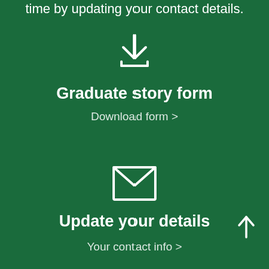time by updating your contact details.
[Figure (illustration): Download icon: downward arrow above a horizontal line]
Graduate story form
Download form >
[Figure (illustration): Email/envelope icon]
Update your details
Your contact info >